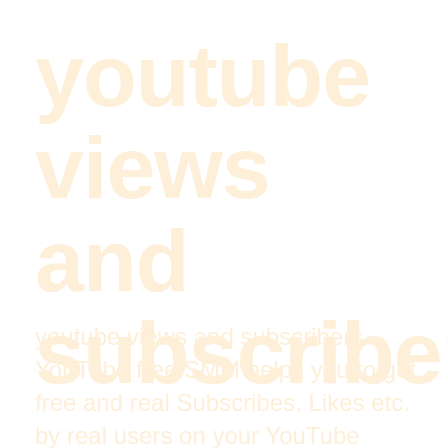youtube views and subscribers
youtube views and subscribers YouTube free SMM helps you to get free and real Subscribes, Likes etc. by real users on your YouTube channel! YTbooster is a YouTube channel-sharing app. People subscribe to